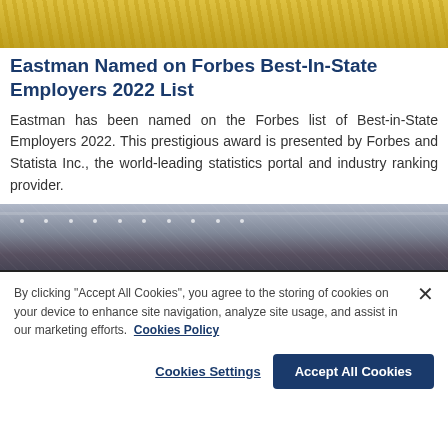[Figure (photo): Top portion of an outdoor photo showing yellow flowers]
Eastman Named on Forbes Best-In-State Employers 2022 List
Eastman has been named on the Forbes list of Best-in-State Employers 2022. This prestigious award is presented by Forbes and Statista Inc., the world-leading statistics portal and industry ranking provider.
[Figure (photo): Interior of a large industrial or convention hall with structural steel ceiling and lights]
By clicking "Accept All Cookies", you agree to the storing of cookies on your device to enhance site navigation, analyze site usage, and assist in our marketing efforts.  Cookies Policy
Cookies Settings
Accept All Cookies